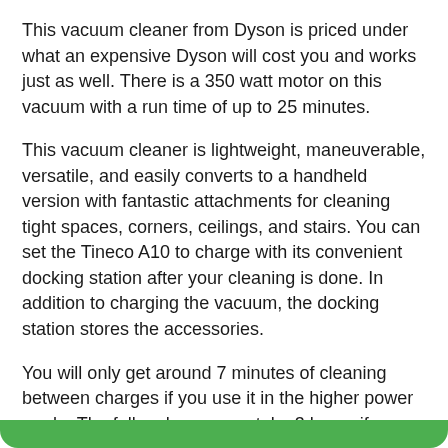This vacuum cleaner from Dyson is priced under what an expensive Dyson will cost you and works just as well. There is a 350 watt motor on this vacuum with a run time of up to 25 minutes.
This vacuum cleaner is lightweight, maneuverable, versatile, and easily converts to a handheld version with fantastic attachments for cleaning tight spaces, corners, ceilings, and stairs. You can set the Tineco A10 to charge with its convenient docking station after your cleaning is done. In addition to charging the vacuum, the docking station stores the accessories.
You will only get around 7 minutes of cleaning between charges if you use it in the higher power mode. The full recharge may take 3 hours if you use it in the higher power mode. The Dyson V8 Animal is almost half the price of this one, but it performs virtually the same, so this is a great alternative!